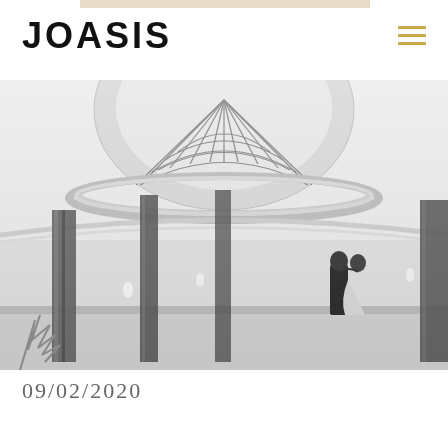JOASIS
[Figure (photo): Black and white photograph of a grand interior hall with a domed skylight ceiling featuring geometric metal grid pattern, marble columns, and a couple (bride and groom) embracing in the background]
09/02/2020